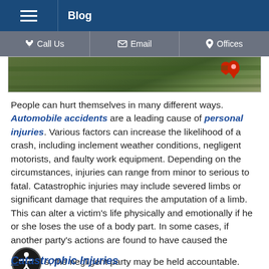Blog
[Figure (screenshot): Navigation bar with Call Us, Email, and Offices options on gray background]
[Figure (photo): Blurred grass/lawn scene with a red location pin icon in the upper right]
People can hurt themselves in many different ways. Automobile accidents are a leading cause of personal injuries. Various factors can increase the likelihood of a crash, including inclement weather conditions, negligent motorists, and faulty work equipment. Depending on the circumstances, injuries can range from minor to serious to fatal. Catastrophic injuries may include severed limbs or significant damage that requires the amputation of a limb. This can alter a victim’s life physically and emotionally if he or she loses the use of a body part. In some cases, if another party’s actions are found to have caused the injuries, the negligent party may be held accountable.